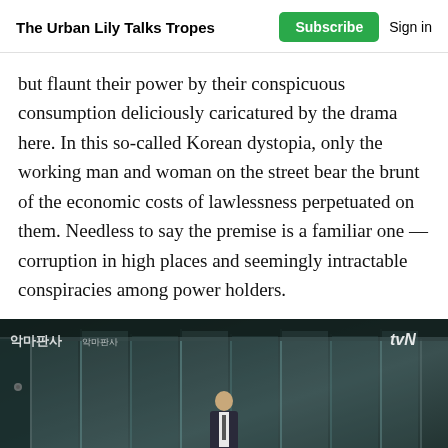The Urban Lily Talks Tropes | Subscribe | Sign in
but flaunt their power by their conspicuous consumption deliciously caricatured by the drama here. In this so-called Korean dystopia, only the working man and woman on the street bear the brunt of the economic costs of lawlessness perpetuated on them. Needless to say the premise is a familiar one — corruption in high places and seemingly intractable conspiracies among power holders.
[Figure (photo): Still frame from a Korean drama (tvN) showing a man in a suit walking through glass revolving doors of a modern building. Overlay text shows Korean characters and 'tvN' logo in top corners.]
3 likes  1 comment  share